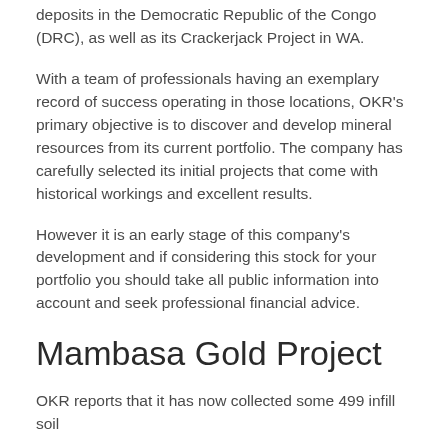deposits in the Democratic Republic of the Congo (DRC), as well as its Crackerjack Project in WA.
With a team of professionals having an exemplary record of success operating in those locations, OKR's primary objective is to discover and develop mineral resources from its current portfolio. The company has carefully selected its initial projects that come with historical workings and excellent results.
However it is an early stage of this company's development and if considering this stock for your portfolio you should take all public information into account and seek professional financial advice.
Mambasa Gold Project
OKR reports that it has now collected some 499 infill soil